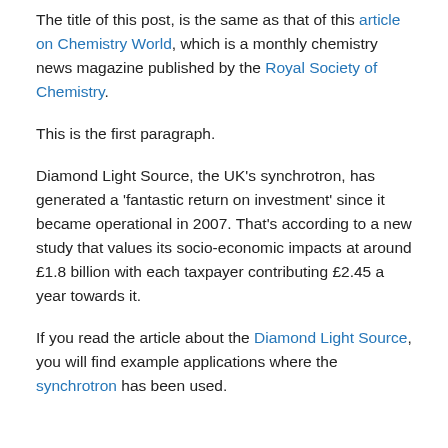The title of this post, is the same as that of this article on Chemistry World, which is a monthly chemistry news magazine published by the Royal Society of Chemistry.
This is the first paragraph.
Diamond Light Source, the UK's synchrotron, has generated a 'fantastic return on investment' since it became operational in 2007. That's according to a new study that values its socio-economic impacts at around £1.8 billion with each taxpayer contributing £2.45 a year towards it.
If you read the article about the Diamond Light Source, you will find example applications where the synchrotron has been used.